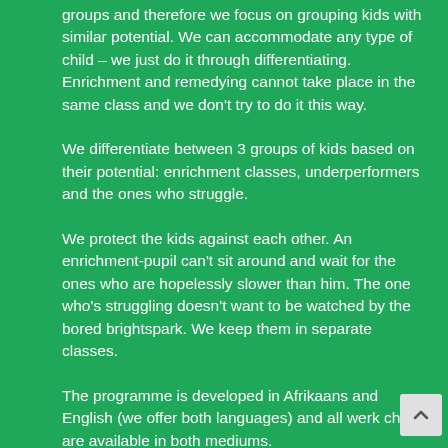groups and therefore we focus on grouping kids with similar potential. We can accommodate any type of child – we just do it through differentiating. Enrichment and remedying cannot take place in the same class and we don't try to do it this way.
We differentiate between 3 groups of kids based on their potential: enrichment classes, underperformers and the ones who struggle.
We protect the kids against each other. An enrichment-pupil can't sit around and wait for the ones who are hopelessly slower than him. The one who's struggling doesn't want to be watched by the bored brightspark. We keep them in separate classes.
The programme is developed in Afrikaans and English (we offer both languages) and all werk charts are available in both mediums.